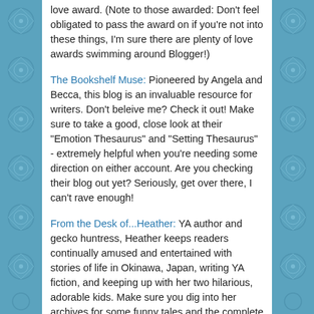love award. (Note to those awarded: Don't feel obligated to pass the award on if you're not into these things, I'm sure there are plenty of love awards swimming around Blogger!)
The Bookshelf Muse: Pioneered by Angela and Becca, this blog is an invaluable resource for writers. Don't beleive me? Check it out! Make sure to take a good, close look at their "Emotion Thesaurus" and "Setting Thesaurus" - extremely helpful when you're needing some direction on either account. Are you checking their blog out yet? Seriously, get over there, I can't rave enough!
From the Desk of...Heather: YA author and gecko huntress, Heather keeps readers continually amused and entertained with stories of life in Okinawa, Japan, writing YA fiction, and keeping up with her two hilarious, adorable kids. Make sure you dig into her archives for some funny tales and the complete gecko saga.